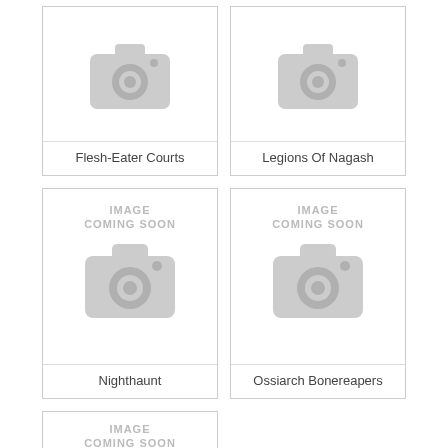[Figure (photo): Placeholder camera icon for Flesh-Eater Courts]
Flesh-Eater Courts
[Figure (photo): Placeholder camera icon for Legions Of Nagash]
Legions Of Nagash
[Figure (photo): Image Coming Soon placeholder with camera icon for Nighthaunt]
Nighthaunt
[Figure (photo): Image Coming Soon placeholder with camera icon for Ossiarch Bonereapers]
Ossiarch Bonereapers
[Figure (photo): Image Coming Soon placeholder with camera icon, fifth card partial]